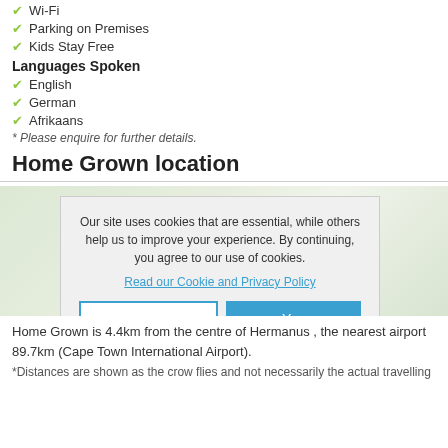Wi-Fi
Parking on Premises
Kids Stay Free
Languages Spoken
English
German
Afrikaans
* Please enquire for further details.
Home Grown location
[Figure (map): Map showing Home Grown location with a cookie consent overlay dialog. The dialog reads: Our site uses cookies that are essential, while others help us to improve your experience. By continuing, you agree to our use of cookies. Read our Cookie and Privacy Policy. Buttons: No, Yes]
Home Grown is 4.4km from the centre of Hermanus , the nearest airport 89.7km (Cape Town International Airport).
*Distances are shown as the crow flies and not necessarily the actual travelling